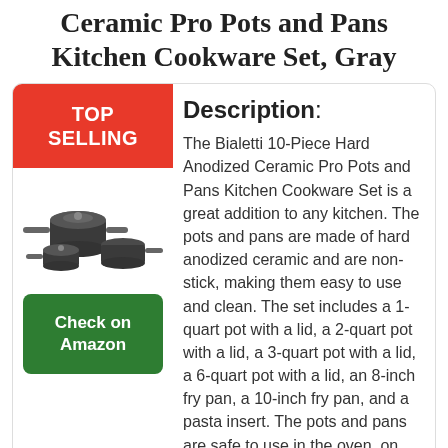Ceramic Pro Pots and Pans Kitchen Cookware Set, Gray
[Figure (photo): Product photo of Bialetti 10-Piece Hard Anodized Ceramic Pro cookware set showing multiple dark gray pots and pans with lids and handles]
Description: The Bialetti 10-Piece Hard Anodized Ceramic Pro Pots and Pans Kitchen Cookware Set is a great addition to any kitchen. The pots and pans are made of hard anodized ceramic and are non-stick, making them easy to use and clean. The set includes a 1-quart pot with a lid, a 2-quart pot with a lid, a 3-quart pot with a lid, a 6-quart pot with a lid, an 8-inch fry pan, a 10-inch fry pan, and a pasta insert. The pots and pans are safe to use in the oven, on the